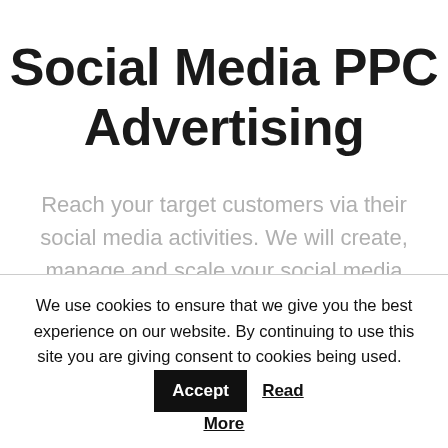Social Media PPC Advertising
Reach your target customers via their social media activities. We will create, manage and scale your social media accounts to achieve your business objectives.
We use cookies to ensure that we give you the best experience on our website. By continuing to use this site you are giving consent to cookies being used. Accept Read More